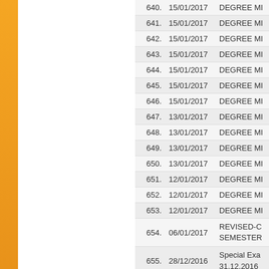| No. | Date | Title |
| --- | --- | --- |
| 640. | 15/01/2017 | DEGREE MI... |
| 641. | 15/01/2017 | DEGREE MI... |
| 642. | 15/01/2017 | DEGREE MI... |
| 643. | 15/01/2017 | DEGREE MI... |
| 644. | 15/01/2017 | DEGREE MI... |
| 645. | 15/01/2017 | DEGREE MI... |
| 646. | 15/01/2017 | DEGREE MI... |
| 647. | 13/01/2017 | DEGREE MI... |
| 648. | 13/01/2017 | DEGREE MI... |
| 649. | 13/01/2017 | DEGREE MI... |
| 650. | 13/01/2017 | DEGREE MI... |
| 651. | 12/01/2017 | DEGREE MI... |
| 652. | 12/01/2017 | DEGREE MI... |
| 653. | 12/01/2017 | DEGREE MI... |
| 654. | 06/01/2017 | REVISED-C... SEMESTER... |
| 655. | 28/12/2016 | Special Exa... 31.12.2016 |